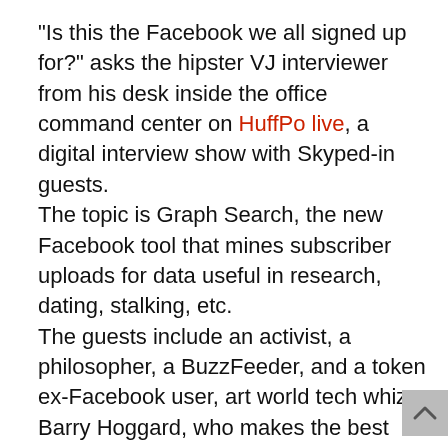"Is this the Facebook we all signed up for?" asks the hipster VJ interviewer from his desk inside the office command center on HuffPo live, a digital interview show with Skyped-in guests.
The topic is Graph Search, the new Facebook tool that mines subscriber uploads for data useful in research, dating, stalking, etc.
The guests include an activist, a philosopher, a BuzzFeeder, and a token ex-Facebook user, art world tech whiz Barry Hoggard, who makes the best contributions despite being patronized by the show's host because, eh, everyone pretty well has to be on Facebook at this point.
The NYC-based Hoggard, who runs the ArtCat artists' web hosting service, among other projects (recap here), points out that as a host (predating Facebook)